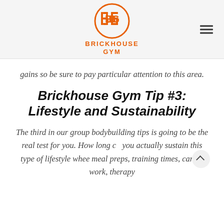BRICKHOUSE GYM
gains so be sure to pay particular attention to this area.
Brickhouse Gym Tip #3: Lifestyle and Sustainability
The third in our group bodybuilding tips is going to be the real test for you. How long can you actually sustain this type of lifestyle where meal preps, training times, cardio work, therapy